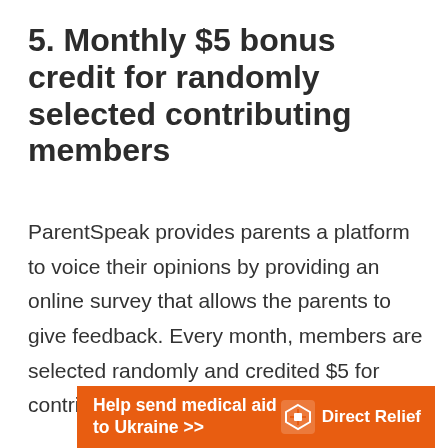5. Monthly $5 bonus credit for randomly selected contributing members
ParentSpeak provides parents a platform to voice their opinions by providing an online survey that allows the parents to give feedback. Every month, members are selected randomly and credited $5 for contributing to the platform.
[Figure (infographic): Orange banner ad reading 'Help send medical aid to Ukraine >>' with Direct Relief logo and name on the right]